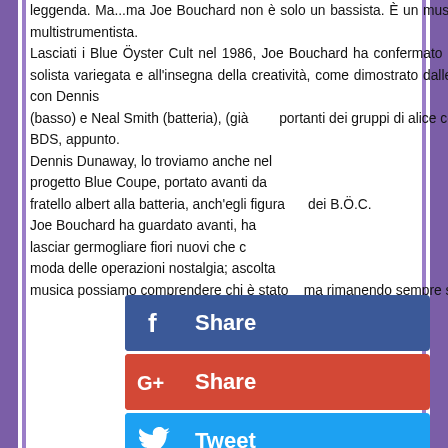leggenda. Ma...ma Joe Bouchard non è solo un bassista. È un musicista completo, chitarrista notevolissimo e multistrumentista.
Lasciati i Blue Öyster Cult nel 1986, Joe Bouchard ha confermato il suo talento cimentandosi in una carriera solista variegata e all'insegna della creatività, come dimostrato dalle sue iniziative solo e dalla collaborazione con Dennis (basso) e Neal Smith (batteria), (già colonne portanti dei gruppi di alice cooper) son BDS, appunto.
Dennis Dunaway, lo troviamo anche nel progetto Blue Coupe, portato avanti da fratello albert alla batteria, anch'egli figura centrale dei B.Ö.C.
Joe Bouchard ha guardato avanti, ha lasciar germogliare fiori nuovi che c moda delle operazioni nostalgia; ascolta musica possiamo comprendere chi è stato e chi è ma rimanendo sempre sorpresi dall' continua.
[Figure (infographic): Social share buttons overlay on right side: Facebook Share (dark blue), Google+ Share (red), Tweet (light blue), Pin It (dark red), Share/Blogger (orange), More (gray)]